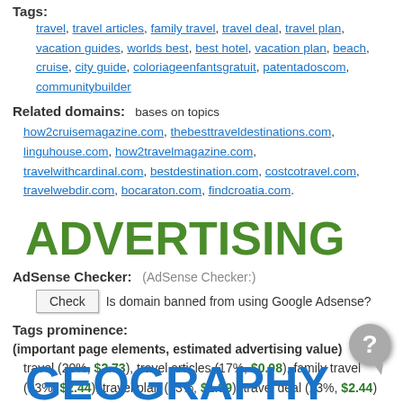Tags: travel, travel articles, family travel, travel deal, travel plan, vacation guides, worlds best, best hotel, vacation plan, beach, cruise, city guide, coloriageenfantsgratuit, patentadoscom, communitybuilder
Related domains: bases on topics how2cruisemagazine.com, thebesttraveldestinations.com, linguhouse.com, how2travelmagazine.com, travelwithcardinal.com, bestdestination.com, costcotravel.com, travelwebdir.com, bocaraton.com, findcroatia.com.
ADVERTISING
AdSense Checker: (AdSense Checker:)
Check  Is domain banned from using Google Adsense?
Tags prominence: (important page elements, estimated advertising value)
travel (20%, $2.73), travel articles (17%, $0.98), family travel (13%, $2.44), travel plan (13%, $1.99), travel deal (13%, $2.44)
Ads SERP visibility: based on research of 16,000,000 keywords
GEOGRAPHY